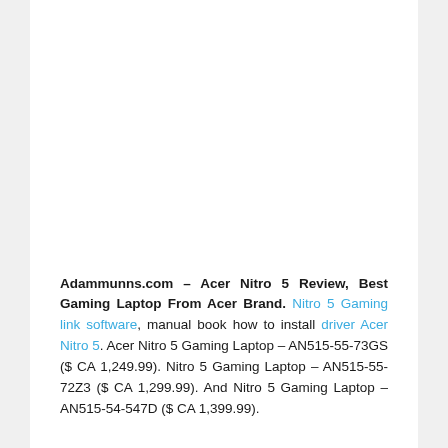Adammunns.com – Acer Nitro 5 Review, Best Gaming Laptop From Acer Brand. Nitro 5 Gaming link software, manual book how to install driver Acer Nitro 5. Acer Nitro 5 Gaming Laptop – AN515-55-73GS ($ CA 1,249.99). Nitro 5 Gaming Laptop – AN515-55-72Z3 ($ CA 1,299.99). And Nitro 5 Gaming Laptop – AN515-54-547D ($ CA 1,399.99).